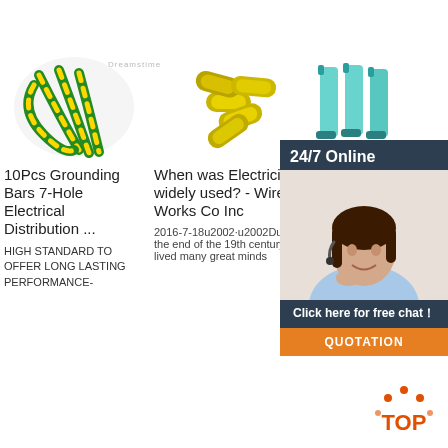[Figure (photo): Green and yellow electrical grounding cable wires]
[Figure (photo): Yellow butt splice electrical connectors]
[Figure (photo): Blue/teal terminal connectors or syringes]
[Figure (infographic): 24/7 Online chat overlay with female customer service agent, Click here for free chat, QUOTATION button]
10Pcs Grounding Bars 7-Hole Electrical Distribution ...
When was Electricity widely used? - Wire Works Co Inc
Mold MX: Cata Farm
HIGH STANDARD TO OFFER LONG LASTING PERFORMANCE-
2016-7-18u2002·u2002During the end of the 19th century lived many great minds
2016-1-29u2002 in high-performance terminal design and rugged construction. The Tin-plated Brass sleeve
[Figure (logo): TOP badge with orange arc and dots]